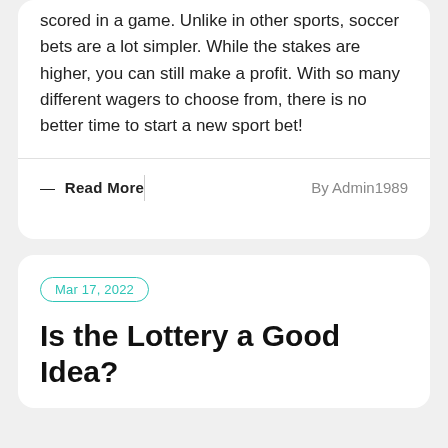scored in a game. Unlike in other sports, soccer bets are a lot simpler. While the stakes are higher, you can still make a profit. With so many different wagers to choose from, there is no better time to start a new sport bet!
— Read More
By Admin1989
Mar 17, 2022
Is the Lottery a Good Idea?